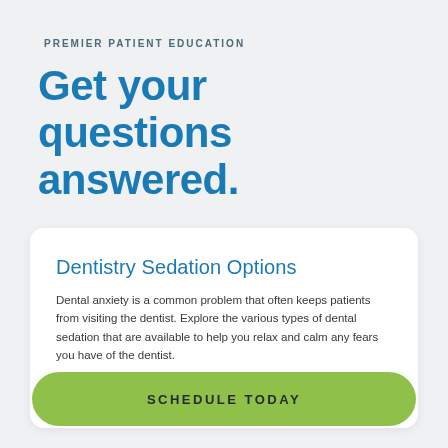PREMIER PATIENT EDUCATION
Get your questions answered.
Dentistry Sedation Options
Dental anxiety is a common problem that often keeps patients from visiting the dentist. Explore the various types of dental sedation that are available to help you relax and calm any fears you have of the dentist.
READ MORE
SCHEDULE TODAY